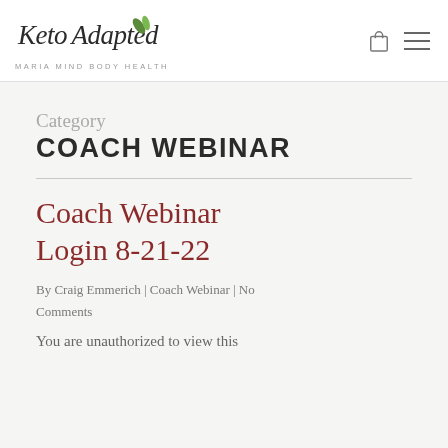Keto Adapted — Maria Mind Body Health
Category
COACH WEBINAR
Coach Webinar Login 8-21-22
By Craig Emmerich | Coach Webinar | No Comments
You are unauthorized to view this